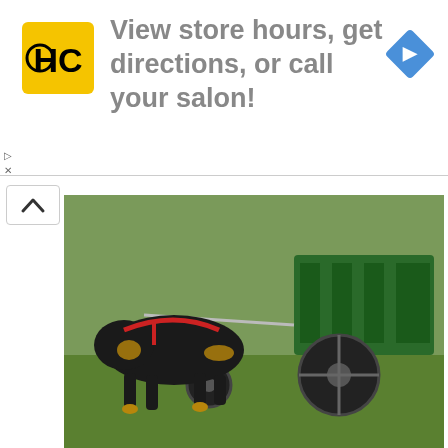[Figure (other): Advertisement banner with HC (Hair Club) yellow/black logo on left, text 'View store hours, get directions, or call your salon!' in gray, and a blue navigation arrow diamond icon on right]
[Figure (photo): Bernese Mountain Dog pulling a green wagon/cart across a grassy field, wearing a red harness]
Finest Buddies Wheat Ridge Bernese Mountain Canine Pet Canine Membership Bernese Mountain Canine
[Figure (photo): Close-up of a Bernese Mountain Dog face looking up at the camera, with a person holding a tablet/notepad visible, outdoor garden setting with palm fronds and round lamp]